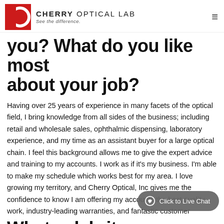CHERRY OPTICAL LAB — See the difference.
you? What do you like most about your job?
Having over 25 years of experience in many facets of the optical field, I bring knowledge from all sides of the business; including retail and wholesale sales, ophthalmic dispensing, laboratory experience, and my time as an assistant buyer for a large optical chain. I feel this background allows me to give the expert advice and training to my accounts. I work as if it's my business. I'm able to make my schedule which works best for my area. I love growing my territory, and Cherry Optical, Inc gives me the confidence to know I am offering my accounts the best quality work, industry-leading warranties, and fantastic customer
What celebrity or historical figure